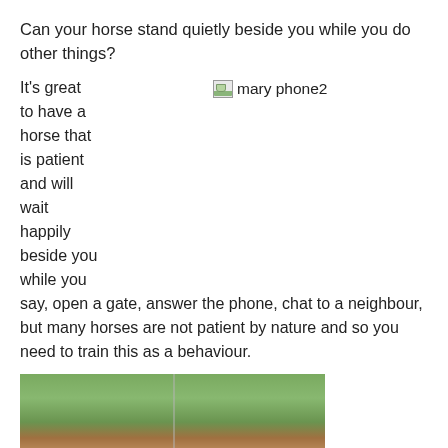Can your horse stand quietly beside you while you do other things?
It's great to have a horse that is patient and will wait happily beside you while you say, open a gate, answer the phone, chat to a neighbour, but many horses are not patient by nature and so you need to train this as a behaviour.
[Figure (photo): Broken image placeholder labeled 'mary phone2' showing a missing/unloaded image icon followed by the text 'mary phone2']
[Figure (photo): Outdoor photograph showing trees and a horse (brown/chestnut) in a field or open area.]